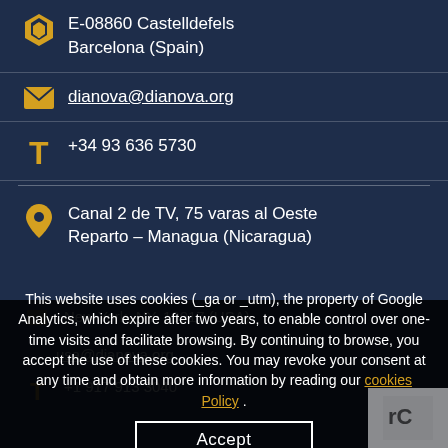E-08860 Castelldefels
Barcelona (Spain)
dianova@dianova.org
+34 93 636 5730
Canal 2 de TV, 75 varas al Oeste
Reparto – Managua (Nicaragua)
This website uses cookies (_ga or _utm), the property of Google Analytics, which expire after two years, to enable control over one-time visits and facilitate browsing. By continuing to browse, you accept the use of these cookies. You may revoke your consent at any time and obtain more information by reading our cookies Policy .
Accept
New York, NY, 10017 (USA)
usa@dianova.org
+1 917 913 3040